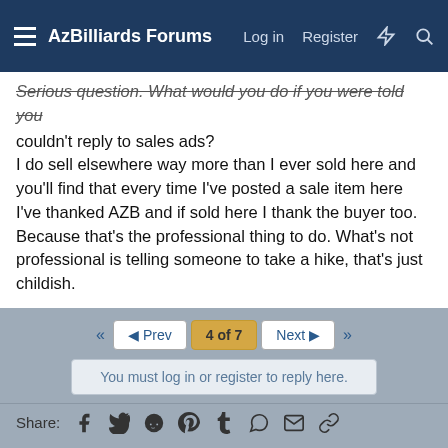AzBilliards Forums  Log in  Register
Serious question. What would you do if you were told you couldn't reply to sales ads?
I do sell elsewhere way more than I ever sold here and you'll find that every time I've posted a sale item here I've thanked AZB and if sold here I thank the buyer too. Because that's the professional thing to do. What's not professional is telling someone to take a hike, that's just childish.
4 of 7
You must log in or register to reply here.
Share:
< Main Forum
Default style new
Contact us  Terms and rules  Privacy policy  Help  Home